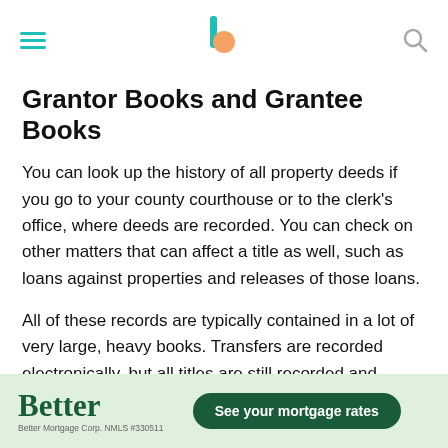[hamburger menu] [Better.com logo] [search icon]
Grantor Books and Grantee Books
You can look up the history of all property deeds if you go to your county courthouse or to the clerk's office, where deeds are recorded. You can check on other matters that can affect a title as well, such as loans against properties and releases of those loans.
All of these records are typically contained in a lot of very large, heavy books. Transfers are recorded electronically, but all titles are still recorded and saved in these property record books.
There are two types of property record books: grantor
[Figure (other): Advertisement banner for Better Mortgage showing the Better logo and a 'See your mortgage rates' button on a light green background.]